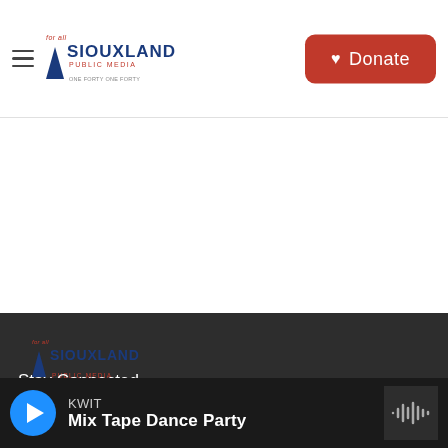for all SIOUXLAND PUBLIC MEDIA
Donate
[Figure (logo): Siouxland Public Media logo in footer — blue triangle with SIOUXLAND text and PUBLIC MEDIA in red]
Stay Connected
KWIT
Mix Tape Dance Party